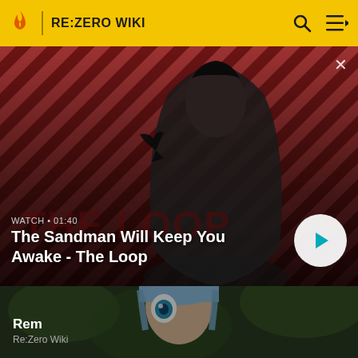RE:ZERO WIKI
[Figure (screenshot): Video thumbnail featuring a man in dark clothing with a crow on his shoulder against a red diagonal striped background. Text overlay shows WATCH • 01:40 and title The Sandman Will Keep You Awake - The Loop with a play button.]
The Sandman Will Keep You Awake - The Loop
[Figure (screenshot): Anime character Rem from Re:Zero with blue hair and large blue eye, looking up, against a blurred green outdoor background.]
Rem
Re:Zero Wiki